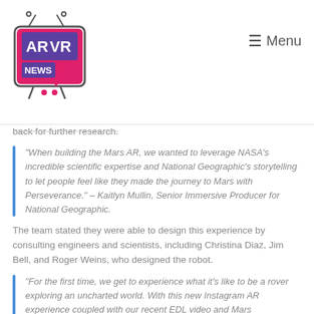AR VR NEWS | Menu
back for further research.
"When building the Mars AR, we wanted to leverage NASA's incredible scientific expertise and National Geographic's storytelling to let people feel like they made the journey to Mars with Perseverance." – Kaitlyn Mullin, Senior Immersive Producer for National Geographic.
The team stated they were able to design this experience by consulting engineers and scientists, including Christina Diaz, Jim Bell, and Roger Weins, who designed the robot.
"For the first time, we get to experience what it's like to be a rover exploring an uncharted world. With this new Instagram AR experience coupled with our recent EDL video and Mars